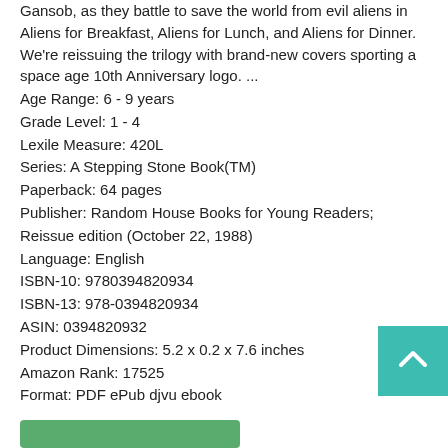Gansob, as they battle to save the world from evil aliens in Aliens for Breakfast, Aliens for Lunch, and Aliens for Dinner. We're reissuing the trilogy with brand-new covers sporting a space age 10th Anniversary logo. ...
Age Range: 6 - 9 years
Grade Level: 1 - 4
Lexile Measure: 420L
Series: A Stepping Stone Book(TM)
Paperback: 64 pages
Publisher: Random House Books for Young Readers; Reissue edition (October 22, 1988)
Language: English
ISBN-10: 9780394820934
ISBN-13: 978-0394820934
ASIN: 0394820932
Product Dimensions: 5.2 x 0.2 x 7.6 inches
Amazon Rank: 17525
Format: PDF ePub djvu ebook